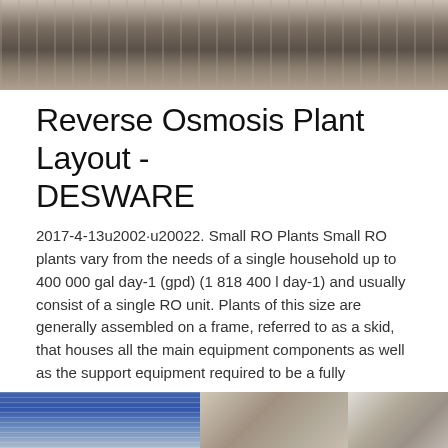[Figure (photo): Top portion of an industrial machinery or equipment photo, showing metallic/industrial components in grey and brown tones]
Reverse Osmosis Plant Layout - DESWARE
2017-4-13u2002·u20022. Small RO Plants Small RO plants vary from the needs of a single household up to 400 000 gal day-1 (gpd) (1 818 400 l day-1) and usually consist of a single RO unit. Plants of this size are generally assembled on a frame, referred to as a skid, that houses all the main equipment components as well as the support equipment required to be a fully
[Figure (photo): Bottom strip showing partial images: left is a blue technical diagram/chart, middle shows industrial equipment, right shows more industrial equipment]